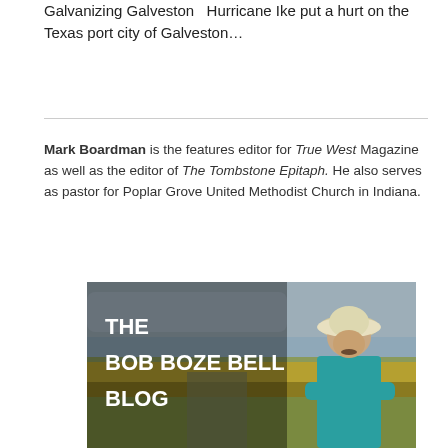Galvanizing Galveston  Hurricane Ike put a hurt on the Texas port city of Galveston…
Mark Boardman is the features editor for True West Magazine as well as the editor of The Tombstone Epitaph. He also serves as pastor for Poplar Grove United Methodist Church in Indiana.
[Figure (photo): The Bob Boze Bell Blog banner image featuring a man in a white cowboy hat and teal shirt with arms crossed, set against a landscape background with bold white text reading THE BOB BOZE BELL BLOG]